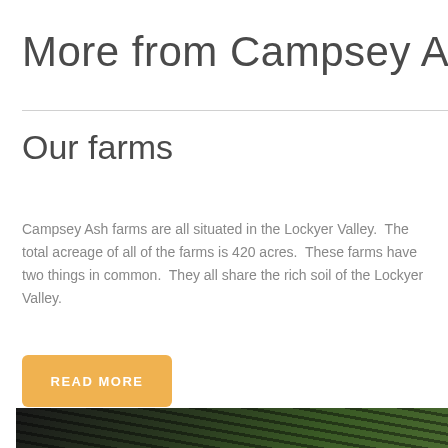More from Campsey Ash
Our farms
Campsey Ash farms are all situated in the Lockyer Valley.  The total acreage of all of the farms is 420 acres.  These farms have two things in common.  They all share the rich soil of the Lockyer Valley.
READ MORE
[Figure (photo): Partial view of a farm crop image showing dark green plants against a dark background, cropped at the bottom of the page.]